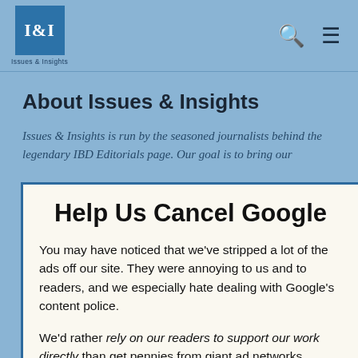I&I Issues & Insights
About Issues & Insights
Issues & Insights is run by the seasoned journalists behind the legendary IBD Editorials page. Our goal is to bring our
Help Us Cancel Google
You may have noticed that we've stripped a lot of the ads off our site. They were annoying to us and to readers, and we especially hate dealing with Google's content police.
We'd rather rely on our readers to support our work directly than get pennies from giant ad networks.
We won't charge you to access our content, but you can help us keep this site going with a donation.